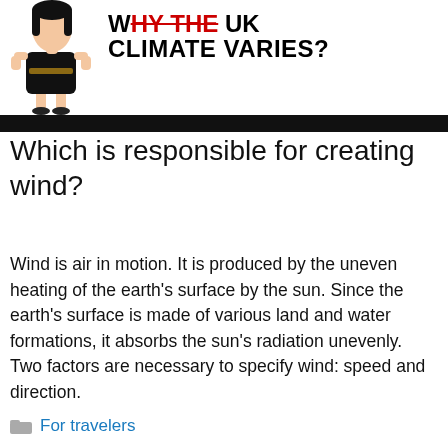[Figure (illustration): Cartoon illustration of a girl in a black dress with hands on hips, shown from the waist/shoulders up, partially cropped at the top.]
WHY THE UK CLIMATE VARIES?
Which is responsible for creating wind?
Wind is air in motion. It is produced by the uneven heating of the earth's surface by the sun. Since the earth's surface is made of various land and water formations, it absorbs the sun's radiation unevenly. Two factors are necessary to specify wind: speed and direction.
For travelers